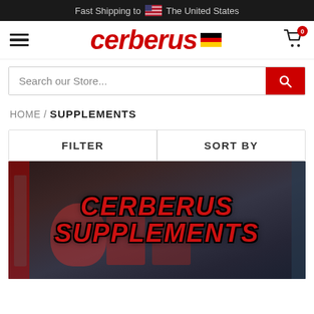Fast Shipping to 🇺🇸 The United States
[Figure (screenshot): Cerberus website header with hamburger menu, red italic logo text 'cerberus' with German flag, and shopping cart icon with badge showing 0]
Search our Store...
HOME / SUPPLEMENTS
FILTER
SORT BY
[Figure (photo): Cerberus Supplements banner image showing gym equipment, red shaker bottle and supplement containers on a rack, with large red italic text 'CERBERUS SUPPLEMENTS' overlaid]